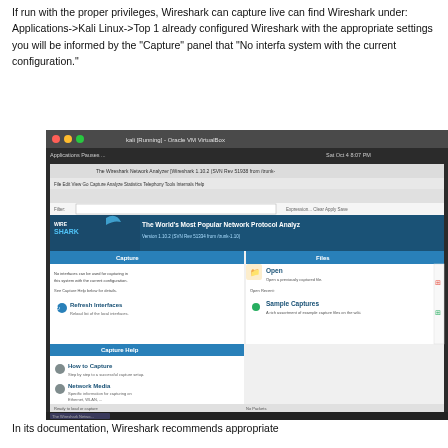If run with the proper privileges, Wireshark can capture live can find Wireshark under: Applications->Kali Linux->Top 1 already configured Wireshark with the appropriate settings you will be informed by the "Capture" panel that "No interfa system with the current configuration."
[Figure (screenshot): Screenshot of Wireshark Network Analyzer application running inside Oracle VM VirtualBox on Kali Linux. Shows the Wireshark start page with Capture and Files panels. The Capture panel shows 'No interfaces can be used for capturing in this system with the current configuration.' with options to Refresh Interfaces. The Files panel shows Open, Open Recent, and Sample Captures options. Capture Help section shows How to Capture and Network Media links.]
In its documentation, Wireshark recommends appropriate